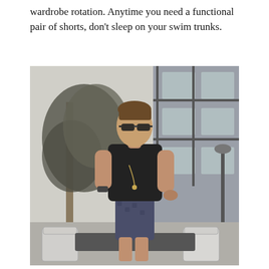wardrobe rotation. Anytime you need a functional pair of shorts, don't sleep on your swim trunks.
[Figure (photo): A young man wearing sunglasses, a black fitted t-shirt, a necklace, patterned navy blue swim trunks/shorts, and a watch, walking outdoors near a modern building with white outdoor chairs and a sparse tree in the background.]